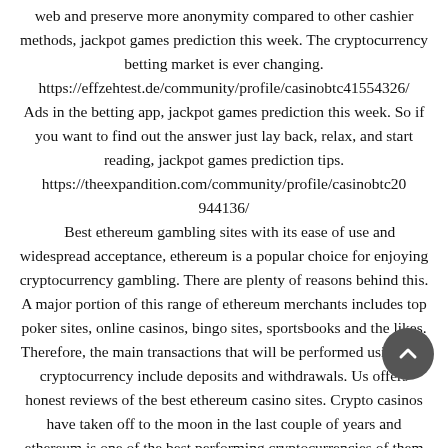web and preserve more anonymity compared to other cashier methods, jackpot games prediction this week. The cryptocurrency betting market is ever changing. https://effzehtest.de/community/profile/casinobtc41554326/ Ads in the betting app, jackpot games prediction this week. So if you want to find out the answer just lay back, relax, and start reading, jackpot games prediction tips. https://theexpandition.com/community/profile/casinobtc20944136/ Best ethereum gambling sites with its ease of use and widespread acceptance, ethereum is a popular choice for enjoying cryptocurrency gambling. There are plenty of reasons behind this. A major portion of this range of ethereum merchants includes top poker sites, online casinos, bingo sites, sportsbooks and the likes. Therefore, the main transactions that will be performed using this cryptocurrency include deposits and withdrawals. Us offers honest reviews of the best ethereum casino sites. Crypto casinos have taken off to the moon in the last couple of years and ethereum is one of the best performing cryptocurrencies of them all. If you're looking for information about ethereum casinos then you're